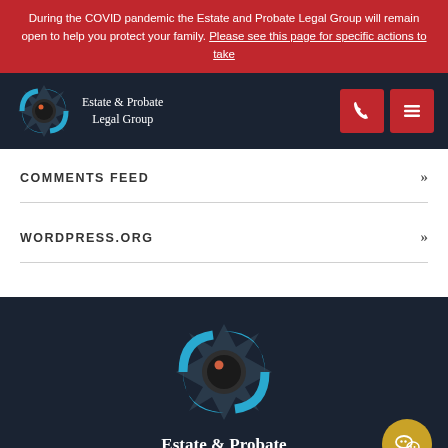During the COVID pandemic the Estate and Probate Legal Group will remain open to help you protect your family. Please see this page for specific actions to take
[Figure (logo): Estate & Probate Legal Group logo in navbar with phone and menu buttons]
COMMENTS FEED
WORDPRESS.ORG
[Figure (logo): Estate & Probate Legal Group footer logo]
Estate & Probate Legal Group